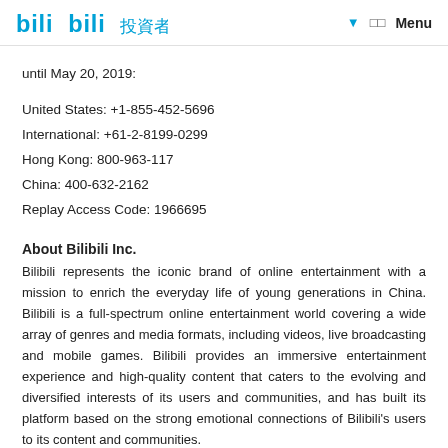Bilibili 投資者關系  Menu
until May 20, 2019:
United States: +1-855-452-5696
International: +61-2-8199-0299
Hong Kong: 800-963-117
China: 400-632-2162
Replay Access Code: 1966695
About Bilibili Inc.
Bilibili represents the iconic brand of online entertainment with a mission to enrich the everyday life of young generations in China. Bilibili is a full-spectrum online entertainment world covering a wide array of genres and media formats, including videos, live broadcasting and mobile games. Bilibili provides an immersive entertainment experience and high-quality content that caters to the evolving and diversified interests of its users and communities, and has built its platform based on the strong emotional connections of Bilibili's users to its content and communities.
For more information, please visit: https://ir.bilibili.com